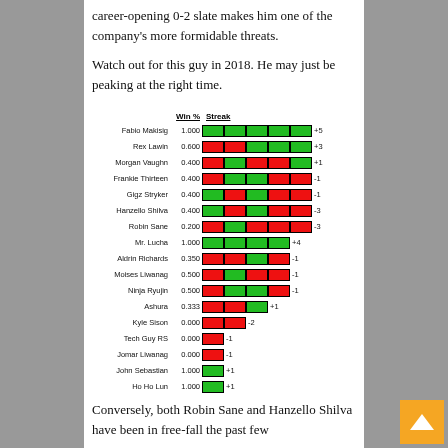career-opening 0-2 slate makes him one of the company's more formidable threats.
Watch out for this guy in 2018. He may just be peaking at the right time.
[Figure (bar-chart): Wrestler Win % and Streak]
Conversely, both Robin Sane and Hanzello Shilva have been in free-fall the past few